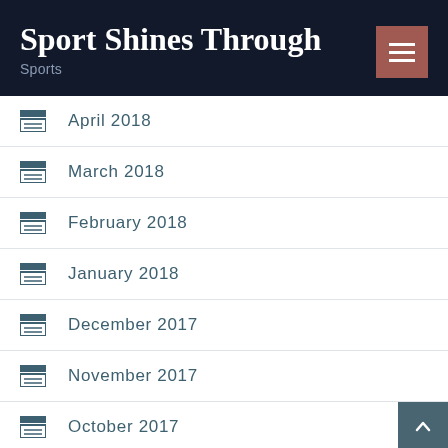Sport Shines Through — Sports
April 2018
March 2018
February 2018
January 2018
December 2017
November 2017
October 2017
September 2017